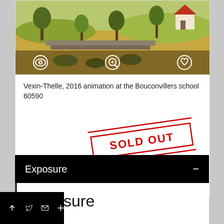[Figure (illustration): Landscape painting showing fields, trees, a stone wall path, and a red-roofed building in the distance. Overlay icons: eye, magnify, heart.]
Vexin-Thelle, 2016 animation at the Bouconvillers school 60590
[Figure (other): Red diagonal SOLD OUT stamp with two horizontal red lines above and below]
Exposure
Exposure